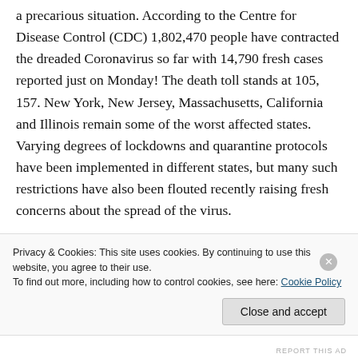a precarious situation. According to the Centre for Disease Control (CDC) 1,802,470 people have contracted the dreaded Coronavirus so far with 14,790 fresh cases reported just on Monday! The death toll stands at 105, 157. New York, New Jersey, Massachusetts, California and Illinois remain some of the worst affected states. Varying degrees of lockdowns and quarantine protocols have been implemented in different states, but many such restrictions have also been flouted recently raising fresh concerns about the spread of the virus.
Privacy & Cookies: This site uses cookies. By continuing to use this website, you agree to their use.
To find out more, including how to control cookies, see here: Cookie Policy
Close and accept